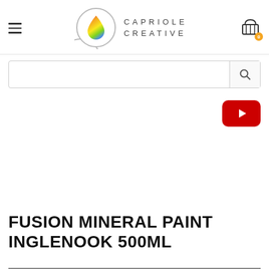[Figure (logo): Capriole Creative logo with rainbow paint drop icon and text CAPRIOLE CREATIVE]
[Figure (other): Search bar with magnifying glass icon]
[Figure (other): YouTube play button (red rounded rectangle with white triangle)]
FUSION MINERAL PAINT INGLENOOK 500ML